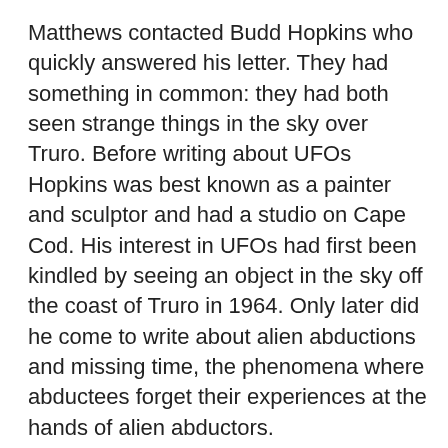Matthews contacted Budd Hopkins who quickly answered his letter. They had something in common: they had both seen strange things in the sky over Truro. Before writing about UFOs Hopkins was best known as a painter and sculptor and had a studio on Cape Cod. His interest in UFOs had first been kindled by seeing an object in the sky off the coast of Truro in 1964. Only later did he come to write about alien abductions and missing time, the phenomena where abductees forget their experiences at the hands of alien abductors.
When Matthews met Hopkins in person Hopkins facilitated a hypnotic regression session for him. Matthews was brought back to that hour in Truro he couldn't remember. While in a trance he described how the lights he had seen that night came down from the sky and landed near the market. They belonged to a flying craft of some kind. Matthews